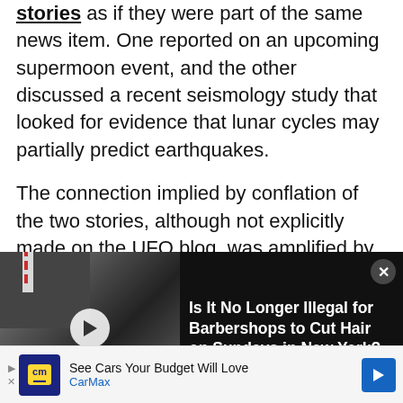stories as if they were part of the same news item. One reported on an upcoming supermoon event, and the other discussed a recent seismology study that looked for evidence that lunar cycles may partially predict earthquakes.

The connection implied by conflation of the two stories, although not explicitly made on the UFO blog, was amplified by other outlets such as the UK's Daily Star tabloid, who wrote:
[Figure (screenshot): Video overlay panel on dark background showing a black-and-white barbershop street scene with a play button. Beside it text reads: 'Is It No Longer Illegal for Barbershops to Cut Hair on Sundays in New York?' with a close (X) button.]
[Figure (screenshot): Advertisement bar at bottom: CarMax ad reading 'See Cars Your Budget Will Love' with CarMax logo and navigation arrow.]